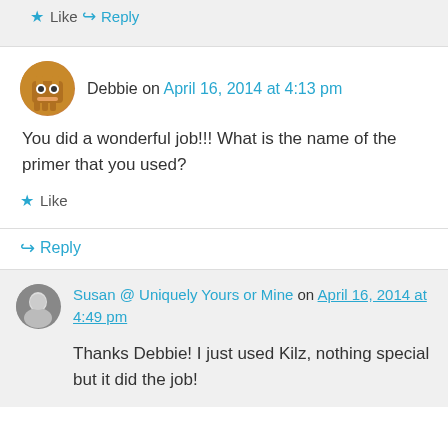Like
Reply
Debbie on April 16, 2014 at 4:13 pm
You did a wonderful job!!! What is the name of the primer that you used?
Like
Reply
Susan @ Uniquely Yours or Mine on April 16, 2014 at 4:49 pm
Thanks Debbie! I just used Kilz, nothing special but it did the job!